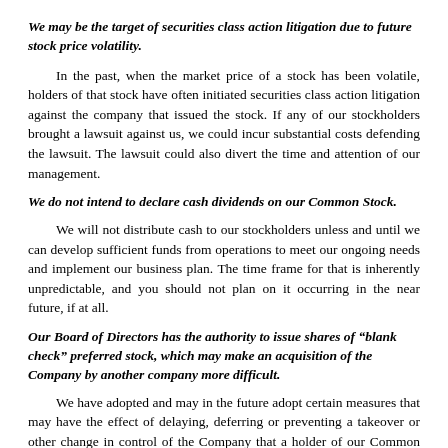We may be the target of securities class action litigation due to future stock price volatility.
In the past, when the market price of a stock has been volatile, holders of that stock have often initiated securities class action litigation against the company that issued the stock. If any of our stockholders brought a lawsuit against us, we could incur substantial costs defending the lawsuit. The lawsuit could also divert the time and attention of our management.
We do not intend to declare cash dividends on our Common Stock.
We will not distribute cash to our stockholders unless and until we can develop sufficient funds from operations to meet our ongoing needs and implement our business plan. The time frame for that is inherently unpredictable, and you should not plan on it occurring in the near future, if at all.
Our Board of Directors has the authority to issue shares of “blank check” preferred stock, which may make an acquisition of the Company by another company more difficult.
We have adopted and may in the future adopt certain measures that may have the effect of delaying, deferring or preventing a takeover or other change in control of the Company that a holder of our Common Stock might consider in its best interest. Specifically, our Board of Directors, without further action by our stockholders, currently has the authority to issue up to 5,000,000 shares of preferred stock and to fix the rights (including voting rights), preferences and